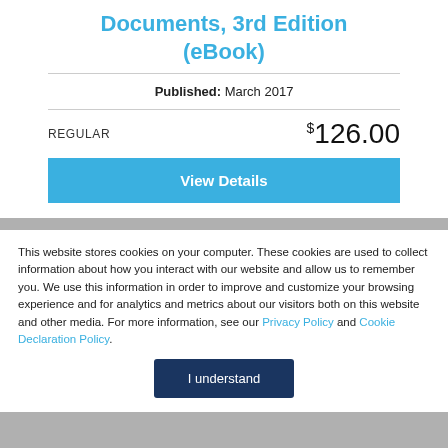Documents, 3rd Edition (eBook)
Published: March 2017
REGULAR  $126.00
View Details
This website stores cookies on your computer. These cookies are used to collect information about how you interact with our website and allow us to remember you. We use this information in order to improve and customize your browsing experience and for analytics and metrics about our visitors both on this website and other media. For more information, see our Privacy Policy and Cookie Declaration Policy.
I understand